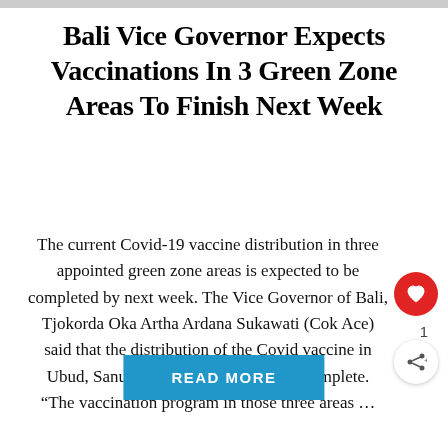[Figure (photo): Top image strip, partially visible photograph]
Bali Vice Governor Expects Vaccinations In 3 Green Zone Areas To Finish Next Week
The current Covid-19 vaccine distribution in three appointed green zone areas is expected to be completed by next week. The Vice Governor of Bali, Tjokorda Oka Artha Ardana Sukawati (Cok Ace) said that the distribution of the Covid vaccine in Ubud, Sanur and Nusa Dua is almost complete. “The vaccination program in those three areas …
READ MORE